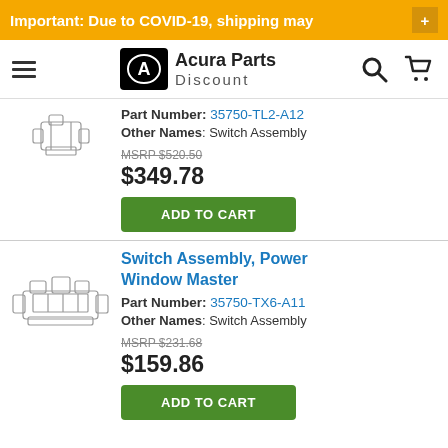Important: Due to COVID-19, shipping may +
[Figure (logo): Acura Parts Discount logo with navigation bar including hamburger menu, search icon, and cart icon]
Part Number: 35750-TL2-A12
Other Names: Switch Assembly
MSRP $520.50
$349.78
ADD TO CART
Switch Assembly, Power Window Master
Part Number: 35750-TX6-A11
Other Names: Switch Assembly
MSRP $231.68
$159.86
ADD TO CART